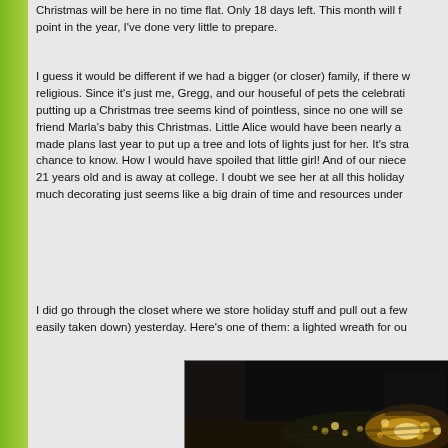Christmas will be here in no time flat. Only 18 days left. This month will f... point in the year, I've done very little to prepare.
I guess it would be different if we had a bigger (or closer) family, if there w... religious. Since it's just me, Gregg, and our houseful of pets the celebrati... putting up a Christmas tree seems kind of pointless, since no one will se... friend Marla's baby this Christmas. Little Alice would have been nearly a... made plans last year to put up a tree and lots of lights just for her. It's stra... chance to know. How I would have spoiled that little girl! And of our niece... 21 years old and is away at college. I doubt we see her at all this holiday... much decorating just seems like a big drain of time and resources under...
I did go through the closet where we store holiday stuff and pull out a few... easily taken down) yesterday. Here's one of them: a lighted wreath for ou...
[Figure (photo): A dark photograph of a lighted wreath or Christmas decoration with golden/warm glowing lights against a dark background, placed on what appears to be a table or surface.]